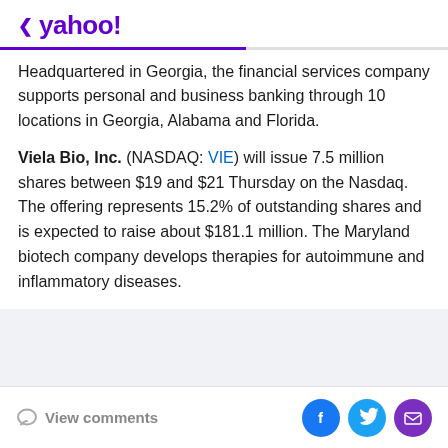< yahoo!
Headquartered in Georgia, the financial services company supports personal and business banking through 10 locations in Georgia, Alabama and Florida.
Viela Bio, Inc. (NASDAQ: VIE) will issue 7.5 million shares between $19 and $21 Thursday on the Nasdaq. The offering represents 15.2% of outstanding shares and is expected to raise about $181.1 million. The Maryland biotech company develops therapies for autoimmune and inflammatory diseases.
View comments